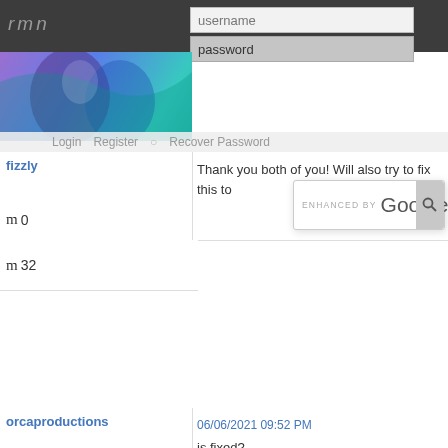rmn
username
password
[Figure (screenshot): Anime character banner image with purple/teal hair]
Login   Register   Recover Password
m 0
[Figure (screenshot): ENHANCED BY Google search bar with search icon]
fizzly
Thank you both of you! Will also try to fix this to
m 32
orcaproductions
06/06/2021 09:52 PM
is fixed?
m 0
Pages: first 1 2 next last
The Network   Policies   Play Games